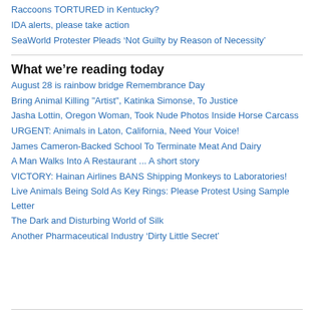Raccoons TORTURED in Kentucky?
IDA alerts, please take action
SeaWorld Protester Pleads ‘Not Guilty by Reason of Necessity’
What we’re reading today
August 28 is rainbow bridge Remembrance Day
Bring Animal Killing "Artist", Katinka Simonse, To Justice
Jasha Lottin, Oregon Woman, Took Nude Photos Inside Horse Carcass
URGENT: Animals in Laton, California, Need Your Voice!
James Cameron-Backed School To Terminate Meat And Dairy
A Man Walks Into A Restaurant ... A short story
VICTORY: Hainan Airlines BANS Shipping Monkeys to Laboratories!
Live Animals Being Sold As Key Rings: Please Protest Using Sample Letter
The Dark and Disturbing World of Silk
Another Pharmaceutical Industry ‘Dirty Little Secret’